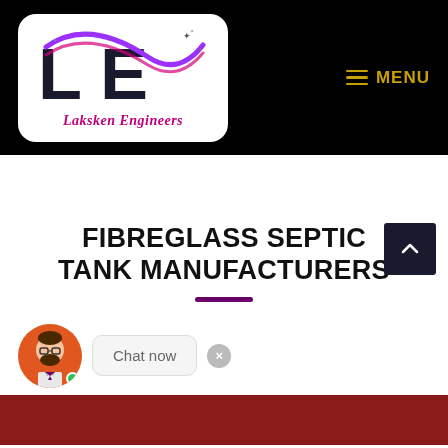[Figure (logo): Laksken Engineers logo with LE letters and pink/purple swoosh on white rounded rectangle background]
MENU
FIBREGLASS SEPTIC TANK MANUFACTURERS
[Figure (screenshot): Chat widget with cartoon avatar of bearded man, Chat now bubble, and close button. Red banner at bottom.]